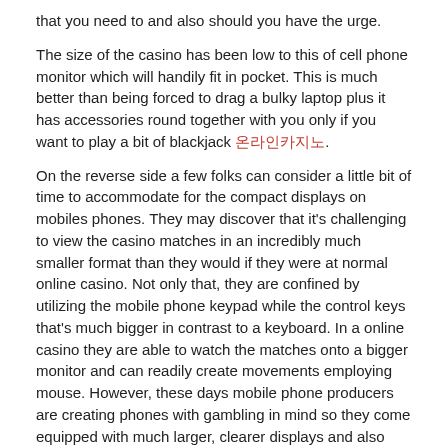that you need to and also should you have the urge.
The size of the casino has been low to this of cell phone monitor which will handily fit in pocket. This is much better than being forced to drag a bulky laptop plus it has accessories round together with you only if you want to play a bit of blackjack 온라인카지노.
On the reverse side a few folks can consider a little bit of time to accommodate for the compact displays on mobiles phones. They may discover that it's challenging to view the casino matches in an incredibly much smaller format than they would if they were at normal online casino. Not only that, they are confined by utilizing the mobile phone keypad while the control keys that's much bigger in contrast to a keyboard. In a online casino they are able to watch the matches onto a bigger monitor and can readily create movements employing mouse. However, these days mobile phone producers are creating phones with gambling in mind so they come equipped with much larger, clearer displays and also more user friendly controllers.
When shifting from a property based casino into online casino you might be tempted to bet a increased amount since the money cannot be seen online betting tables. This is described as a threat since you might wind up shelling out more money than you'd in casinos as you will find no bodily processors seen anywhere. Physical processors